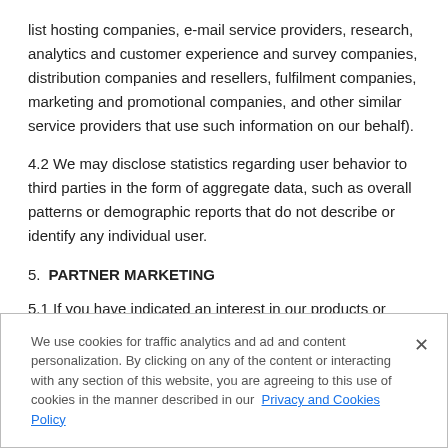list hosting companies, e-mail service providers, research, analytics and customer experience and survey companies, distribution companies and resellers, fulfilment companies, marketing and promotional companies, and other similar service providers that use such information on our behalf).
4.2 We may disclose statistics regarding user behavior to third parties in the form of aggregate data, such as overall patterns or demographic reports that do not describe or identify any individual user.
5.  PARTNER MARKETING
5.1 If you have indicated an interest in our products or services (including by clicking on an email or download, or visiting our
We use cookies for traffic analytics and ad and content personalization. By clicking on any of the content or interacting with any section of this website, you are agreeing to this use of cookies in the manner described in our Privacy and Cookies Policy